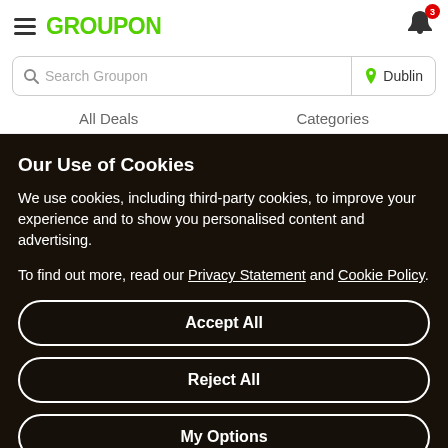GROUPON — notification bell with badge 3
Search Groupon | Dublin
All Deals   Categories
Our Use of Cookies
We use cookies, including third-party cookies, to improve your experience and to show you personalised content and advertising.
To find out more, read our Privacy Statement and Cookie Policy.
Accept All
Reject All
My Options